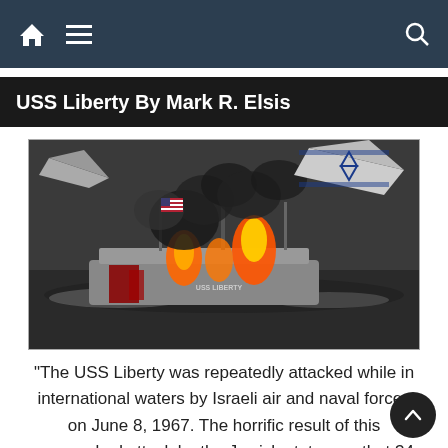USS Liberty By Mark R. Elsis
USS Liberty By Mark R. Elsis
[Figure (illustration): Illustration of the USS Liberty ship on fire and being attacked by Israeli aircraft. The ship labeled 'USS Liberty' is shown burning in the sea, with dark smoke, flames, and an Israeli flag visible on an aircraft above.]
"The USS Liberty was repeatedly attacked while in international waters by Israeli air and naval forces on June 8, 1967. The horrific result of this unprovoked attack by the Jewish state was that 34 Americans were murdered, and 174 were wounded. Then